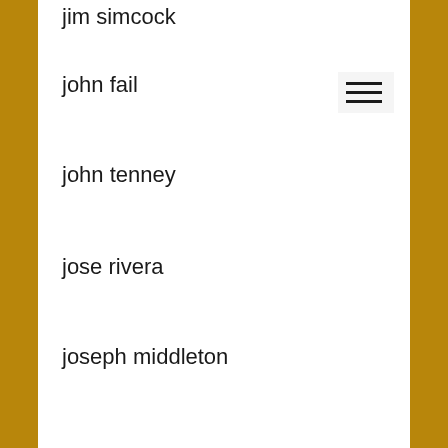jim simcock
john fail
john tenney
jose rivera
joseph middleton